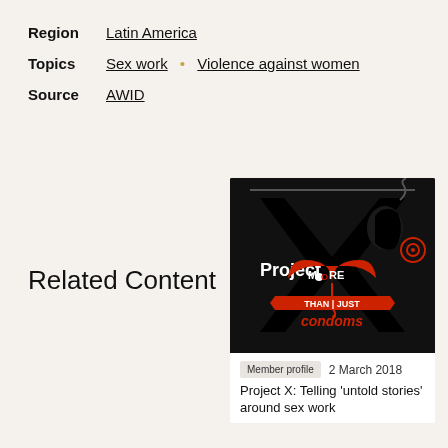Region: Latin America
Topics: Sex work • Violence against women
Source: AWID
Related Content
[Figure (logo): Project X: More Than Just Condoms logo — large black X with silhouette of a woman's face, red umbrella with MORE written on it, banner reading THAN JUST condoms]
Member profile   2 March 2018
Project X: Telling 'untold stories' around sex work